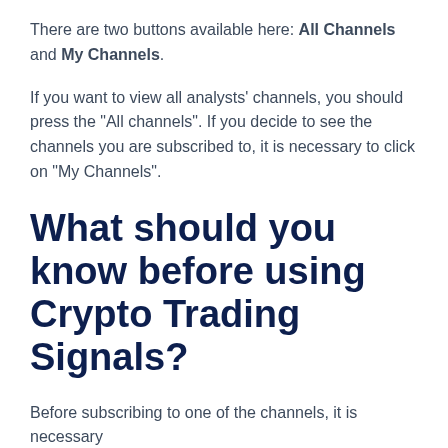There are two buttons available here: All Channels and My Channels.
If you want to view all analysts' channels, you should press the "All channels". If you decide to see the channels you are subscribed to, it is necessary to click on "My Channels".
What should you know before using Crypto Trading Signals?
Before subscribing to one of the channels, it is necessary